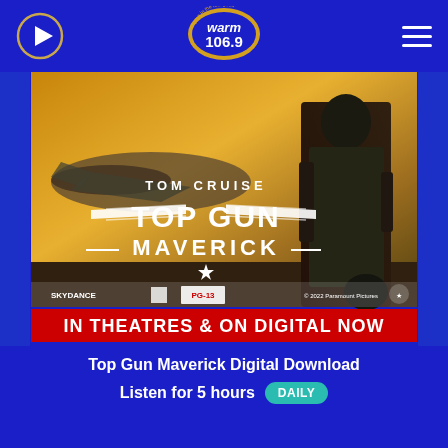warm 106.9
[Figure (photo): Top Gun Maverick movie poster showing Tom Cruise in flight suit with jet aircraft. Text reads TOM CRUISE TOP GUN MAVERICK. Bottom red banner: IN THEATRES & ON DIGITAL NOW. SKYDANCE logo, PG-13 rating, Paramount Pictures logo.]
Top Gun Maverick Digital Download
Listen for 5 hours  DAILY